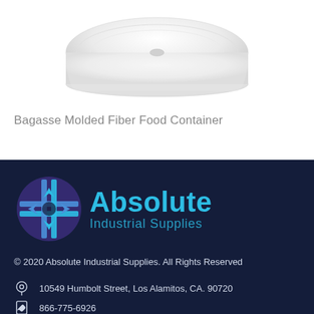[Figure (photo): White Bagasse Molded Fiber Food Container product image on white background, showing top view of a white food container/clamshell]
Bagasse Molded Fiber Food Container
[Figure (logo): Absolute Industrial Supplies logo — circular cross/compass icon in blue and purple tones, with 'Absolute' in large cyan bold text and 'Industrial Supplies' in smaller cyan text on dark navy background]
© 2020 Absolute Industrial Supplies. All Rights Reserved
10549 Humbolt Street, Los Alamitos, CA. 90720
866-775-6926